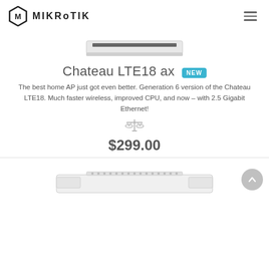MikroTik
[Figure (photo): Top partial view of a MikroTik Chateau LTE18 ax router device, showing the top/front of a flat white networking appliance with ventilation grille]
Chateau LTE18 ax NEW
The best home AP just got even better. Generation 6 version of the Chateau LTE18. Much faster wireless, improved CPU, and now – with 2.5 Gigabit Ethernet!
[Figure (illustration): Compare icon: scales/balance symbol in gray]
$299.00
[Figure (photo): Bottom partial view of another MikroTik router product, showing top of a flat white networking device with port connectors along the edge]